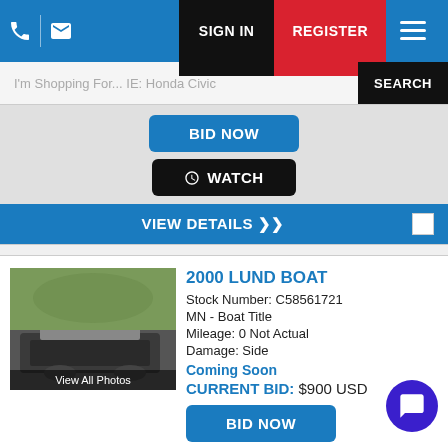SIGN IN | REGISTER
I'm Shopping For... IE: Honda Civic
BID NOW
WATCH
VIEW DETAILS
2000 LUND BOAT
Stock Number: C58561721
MN - Boat Title
Mileage: 0 Not Actual
Damage: Side
Coming Soon
CURRENT BID: $900 USD
BID NOW
WATCH